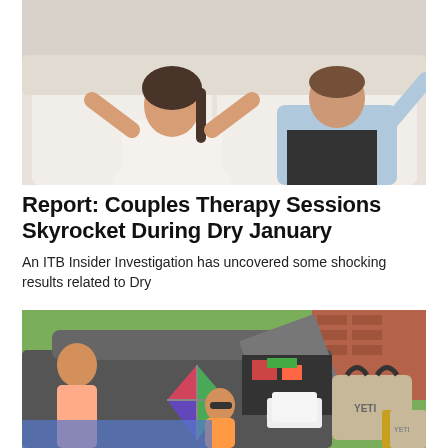[Figure (photo): Two people sitting on a white sofa in what appears to be a therapy session. A woman with dark hair in a ponytail wearing a white top gestures with her hands, and a man in a light blue shirt sits beside her.]
Report: Couples Therapy Sessions Skyrocket During Dry January
An ITB Insider Investigation has uncovered some shocking results related to Dry
[Figure (photo): Outdoor tailgate or family outing scene with a SUV trunk open, a YETI cooler bag, a kite, and various items. A child with sunglasses and an adult are visible.]